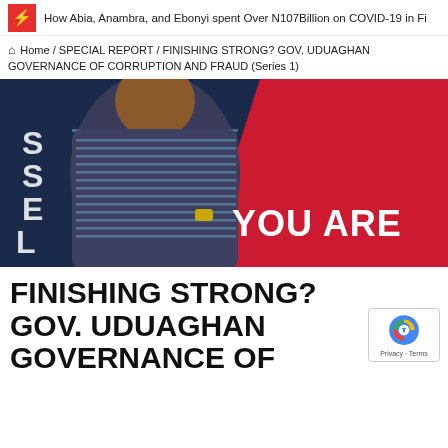How Abia, Anambra, and Ebonyi spent Over N107Billion on COVID-19 in Fi
Home / SPECIAL REPORT / FINISHING STRONG? GOV. UDUAGHAN GOVERNANCE OF CORRUPTION AND FRAUD (Series 1)
[Figure (photo): Banner image showing a man in a striped polo shirt standing against a dark blue and red diagonal background. Text on left reads 'PELESS' vertically. Red section on right reads 'YOU ARE' in large white bold text.]
FINISHING STRONG? GOV. UDUAGHAN GOVERNANCE OF